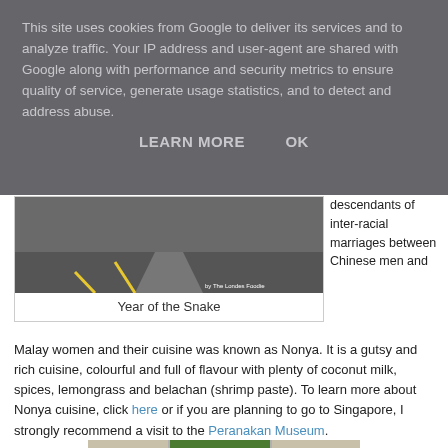This site uses cookies from Google to deliver its services and to analyze traffic. Your IP address and user-agent are shared with Google along with performance and security metrics to ensure quality of service, generate usage statistics, and to detect and address abuse.
LEARN MORE   OK
[Figure (photo): Road/pavement image with yellow lane markings, watermark 'by The Londes Foodie']
Year of the Snake
descendants of inter-racial marriages between Chinese men and Malay women and their cuisine was known as Nonya. It is a gutsy and rich cuisine, colourful and full of flavour with plenty of coconut milk, spices, lemongrass and belachan (shrimp paste). To learn more about Nonya cuisine, click here or if you are planning to go to Singapore, I strongly recommend a visit to the Peranakan Museum.
[Figure (photo): Street scene in Singapore showing shophouses and trees]